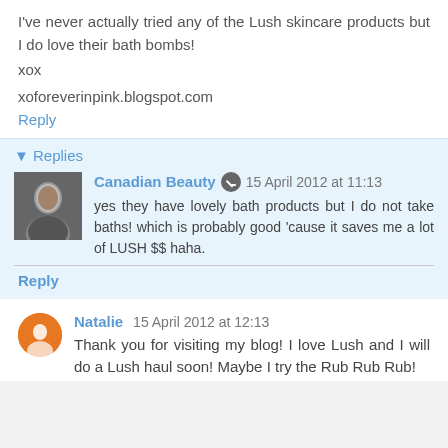I've never actually tried any of the Lush skincare products but I do love their bath bombs!
xox
xoforeverinpink.blogspot.com
Reply
▾ Replies
Canadian Beauty  15 April 2012 at 11:13
yes they have lovely bath products but I do not take baths! which is probably good 'cause it saves me a lot of LUSH $$ haha.
Reply
Natalie  15 April 2012 at 12:13
Thank you for visiting my blog! I love Lush and I will do a Lush haul soon! Maybe I try the Rub Rub Rub!